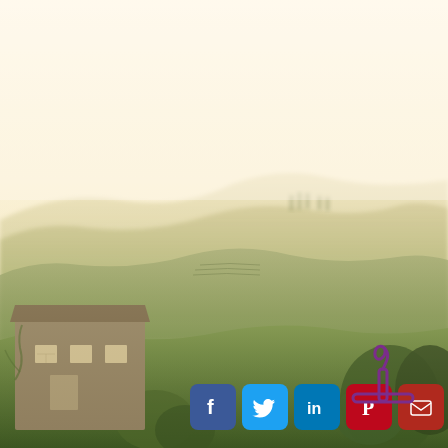[Figure (photo): Aerial landscape photo of Tuscan countryside at golden hour/dusk with rolling hills, vineyards, cypress trees, and a stone farmhouse in the lower left corner. Warm hazy light fills the sky.]
[Figure (illustration): Social media sharing icons row: Facebook (blue), Twitter (blue), LinkedIn (blue), Pinterest (red), Email (dark red) — all rounded-square icons]
[Figure (illustration): Purple corkscrew / wine opener icon in lower right area of the image]